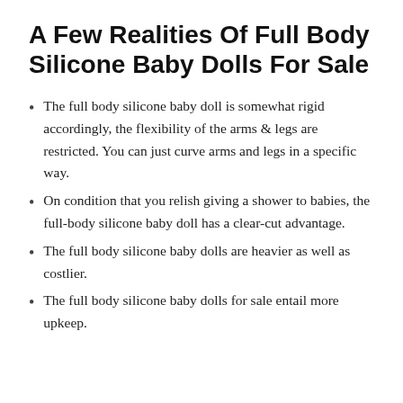A Few Realities Of Full Body Silicone Baby Dolls For Sale
The full body silicone baby doll is somewhat rigid accordingly, the flexibility of the arms & legs are restricted. You can just curve arms and legs in a specific way.
On condition that you relish giving a shower to babies, the full-body silicone baby doll has a clear-cut advantage.
The full body silicone baby dolls are heavier as well as costlier.
The full body silicone baby dolls for sale entail more upkeep.